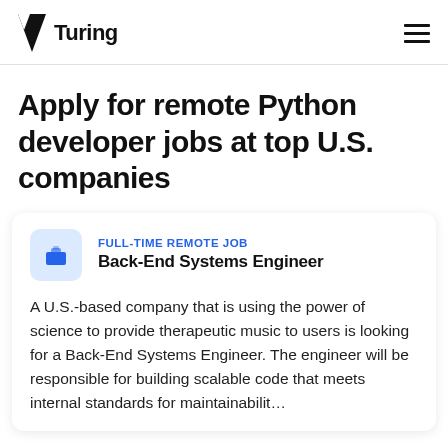Turing
Apply for remote Python developer jobs at top U.S. companies
FULL-TIME REMOTE JOB
Back-End Systems Engineer

A U.S.-based company that is using the power of science to provide therapeutic music to users is looking for a Back-End Systems Engineer. The engineer will be responsible for building scalable code that meets internal standards for maintainabilit...